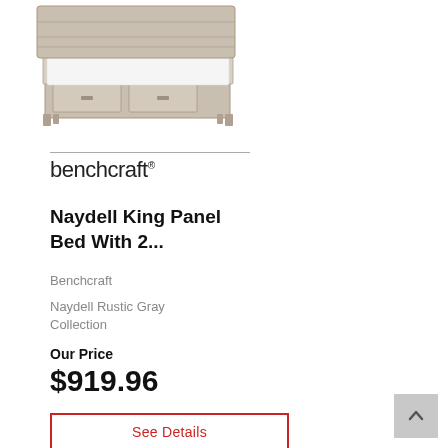[Figure (photo): Photo of a king panel bed with storage drawers in rustic gray finish, with white bedding, on white background]
[Figure (logo): Benchcraft brand logo in lowercase serif-style font with trademark symbol]
Naydell King Panel Bed With 2...
Benchcraft
Naydell Rustic Gray Collection
Our Price
$919.96
See Details